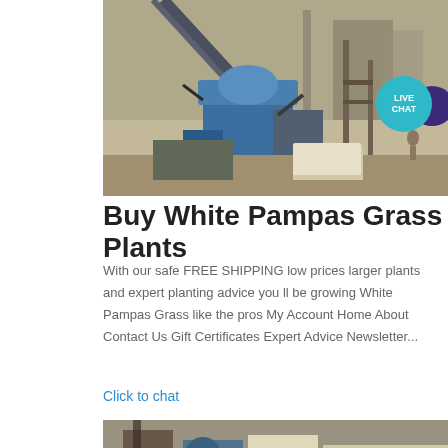[Figure (photo): Industrial machinery / crushing plant equipment at a construction or mining site, aerial/elevated view showing blue machinery, conveyors, and scaffolding]
[Figure (logo): Live Chat badge: teal/cyan circle with 'LIVE CHAT' text and a dark purple speech bubble icon]
Buy White Pampas Grass Plants
With our safe FREE SHIPPING low prices larger plants and expert planting advice you ll be growing White Pampas Grass like the pros My Account Home About Contact Us Gift Certificates Expert Advice Newsletter...
Click to chat
[Figure (photo): Industrial machinery at a construction or mining site, partially visible at bottom of page]